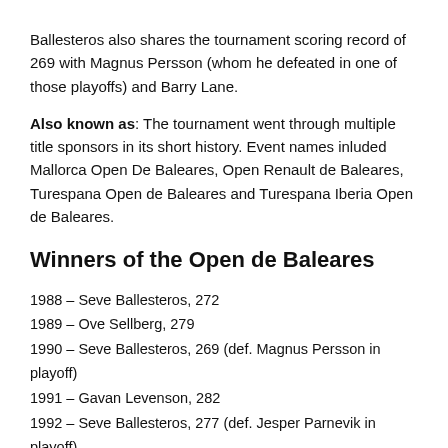Ballesteros also shares the tournament scoring record of 269 with Magnus Persson (whom he defeated in one of those playoffs) and Barry Lane.
Also known as: The tournament went through multiple title sponsors in its short history. Event names inluded Mallorca Open De Baleares, Open Renault de Baleares, Turespana Open de Baleares and Turespana Iberia Open de Baleares.
Winners of the Open de Baleares
1988 – Seve Ballesteros, 272
1989 – Ove Sellberg, 279
1990 – Seve Ballesteros, 269 (def. Magnus Persson in playoff)
1991 – Gavan Levenson, 282
1992 – Seve Ballesteros, 277 (def. Jesper Parnevik in playoff)
1993 – Jim Payne, 277 (def. Anders Gillner in playoff)